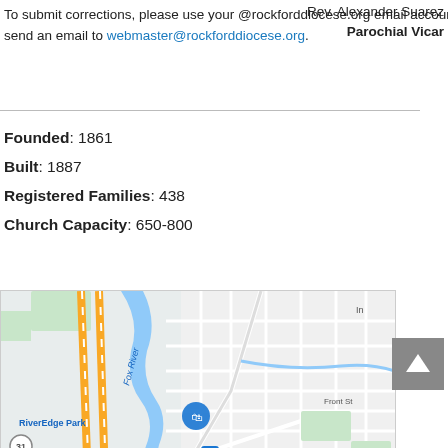Rev. Alexander Suarez (truncated at right)
Parochial Vicar
To submit corrections, please use your @rockforddiocese.org email account to send an email to webmaster@rockforddiocese.org.
Founded:  1861
Built:  1887
Registered Families:  438
Church Capacity:  650-800
[Figure (map): Google Maps view showing Fox River area near RiverEdge Park, Hollywood Casino Aurora, N Lincoln Ave, Front St, N Ohio St, E New York St, E Galena and surrounding streets in Aurora, IL area. A blue location pin is visible near the river.]